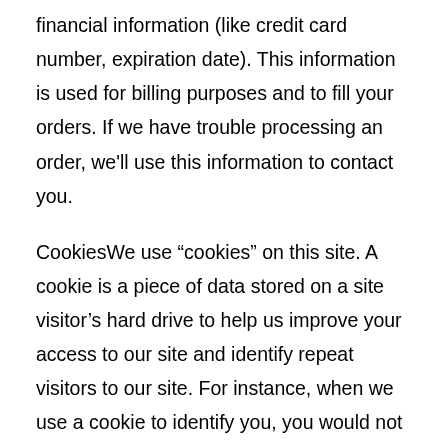financial information (like credit card number, expiration date). This information is used for billing purposes and to fill your orders. If we have trouble processing an order, we'll use this information to contact you.
CookiesWe use “cookies” on this site. A cookie is a piece of data stored on a site visitor’s hard drive to help us improve your access to our site and identify repeat visitors to our site. For instance, when we use a cookie to identify you, you would not have to log in a password more than once, thereby saving time while on our site. Cookies can also enable us to track and